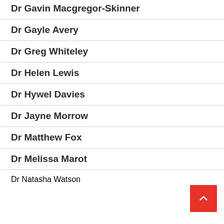Dr Gavin Macgregor-Skinner
Dr Gayle Avery
Dr Greg Whiteley
Dr Helen Lewis
Dr Hywel Davies
Dr Jayne Morrow
Dr Matthew Fox
Dr Melissa Marot
Dr Natasha Watson